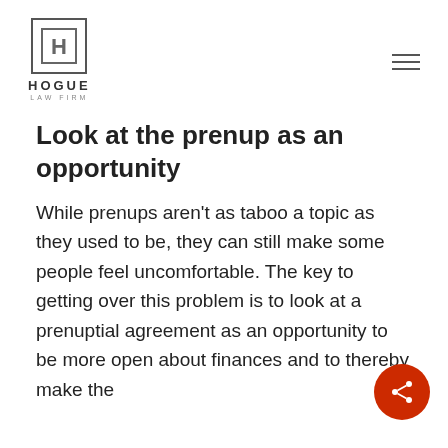[Figure (logo): Hogue Law Firm logo with stylized H in a square box, firm name HOGUE LAW FIRM below]
Look at the prenup as an opportunity
While prenups aren't as taboo a topic as they used to be, they can still make some people feel uncomfortable. The key to getting over this problem is to look at a prenuptial agreement as an opportunity to be more open about finances and to thereby make the